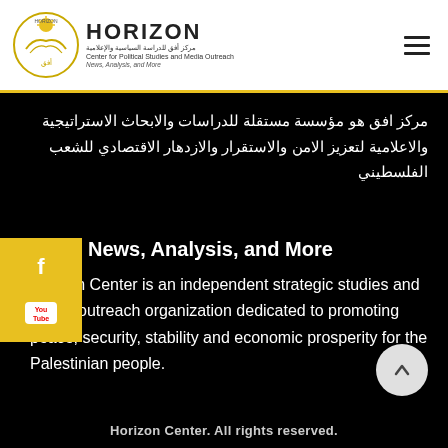[Figure (logo): Horizon Center logo with sun/bird emblem and Arabic text, plus HORIZON wordmark with tagline]
مركز افق هو مؤسسة مستقلة للدراسات والابحاث الاستراتيجية والاعلامية لتعزيز الامن والاستقرار والازدهار الاقتصادي للشعب الفلسطيني
News, Analysis, and More
Horizon Center is an independent strategic studies and media outreach organization dedicated to promoting peace, security, stability and economic prosperity for the Palestinian people.
Horizon Center. All rights reserved.